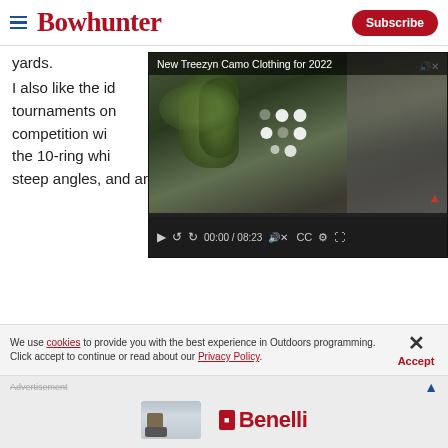Bowhunter | Subscribe
yards.
[Figure (screenshot): Video player overlay showing 'New Treezyn Camo Clothing for 2022' with thumbnail of camouflage-clad figure, video controls showing 00:00 / 08:23]
I also like the id... tournaments or... competition wi... the 10-ring whi... steep angles, and around or over obstacles not only
We use cookies to provide you with the best experience in Outdoors programming. Click accept to continue or read about our Privacy Policy.
Advertisement
[Figure (logo): Benelli logo advertisement with person on ATV in snowy landscape]